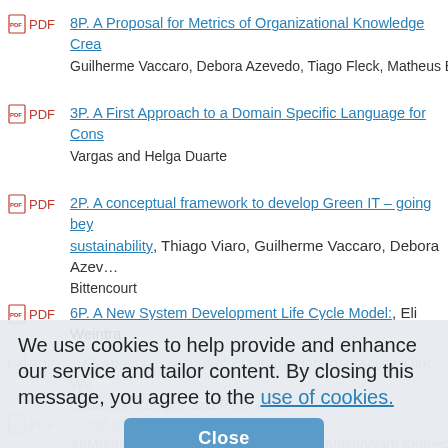8P. A Proposal for Metrics of Organizational Knowledge Crea… — Guilherme Vaccaro, Debora Azevedo, Tiago Fleck, Matheus B…
3P. A First Approach to a Domain Specific Language for Cons… — Vargas and Helga Duarte
2P. A conceptual framework to develop Green IT – going bey… sustainability, Thiago Viaro, Guilherme Vaccaro, Debora Azev… Bittencourt
6P. A New System Development Life Cycle Model:, Eli Weintra…
10P. About the Nature of Enterprise Interoperability, Dirk We… Sebastian Kämper, and Peter Loos
…PDF …Research Process, Yun-Ke … AnMorales-arroyo, Sivaraj Komarasamy, Athimoolam Kenned…
We use cookies to help provide and enhance our service and tailor content. By closing this message, you agree to the use of cookies.